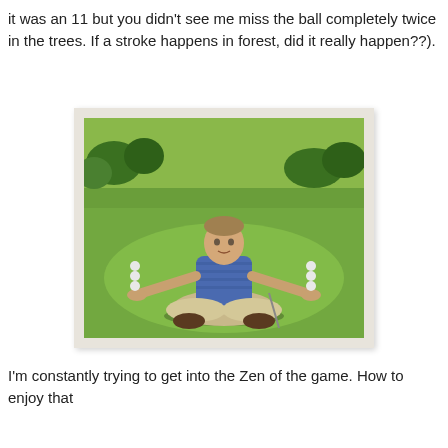it was an 11 but you didn't see me miss the ball completely twice in the trees. If a stroke happens in forest, did it really happen??).
[Figure (photo): A man sitting cross-legged in a yoga/meditation pose on a golf course green, holding golf balls balanced on each outstretched palm, wearing a blue striped polo shirt and khaki pants.]
I'm constantly trying to get into the Zen of the game. How to enjoy that